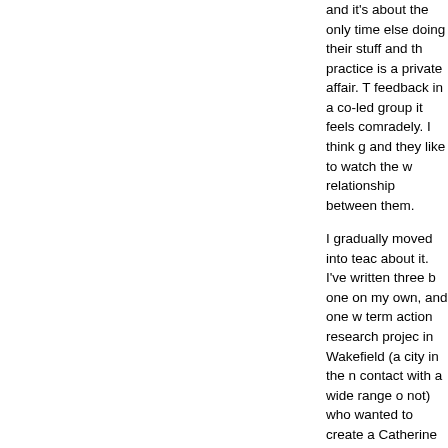and it's about the only time else doing their stuff and th practice is a private affair. T feedback in a co-led group it feels comradely. I think g and they like to watch the w relationship between them.

I gradually moved into teac about it. I've written three b one on my own, and one w term action research projec in Wakefield (a city in the n contact with a wide range o not) who wanted to create a Catherine Sawdon, we pro new groups take off. We al groupworkers could docum reflect on them – these doc assessed for post-qualifyin many different groups prov Using Groupwork. It's beer groupworkers' own practice